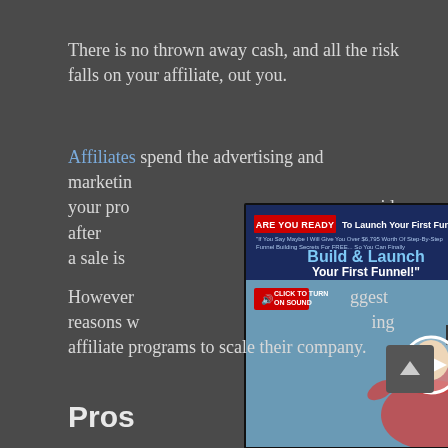There is no thrown away cash, and all the risk falls on your affiliate, out you.
Affiliates spend the advertising and marketing [obscured by popup] promoting your products [obscured by popup] paid after a sale is [obscured].
[Figure (screenshot): Popup ad overlay showing 'ARE YOU READY To Launch Your First Funnel?' with Build & Launch Your First Funnel! headline, a video play button, and a person in a red shirt. There is a close X button in the top right corner.]
However [obscured] biggest reasons w[obscured] affiliate programs to scale their company.
Pros